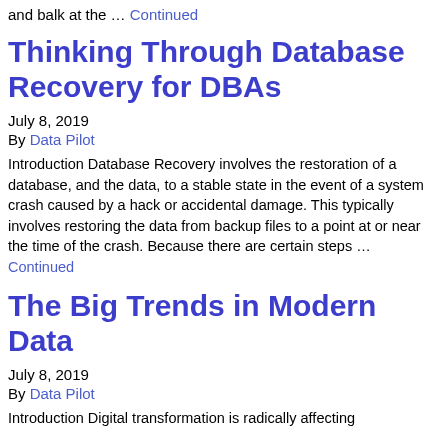and balk at the … Continued
Thinking Through Database Recovery for DBAs
July 8, 2019
By Data Pilot
Introduction Database Recovery involves the restoration of a database, and the data, to a stable state in the event of a system crash caused by a hack or accidental damage. This typically involves restoring the data from backup files to a point at or near the time of the crash. Because there are certain steps … Continued
The Big Trends in Modern Data
July 8, 2019
By Data Pilot
Introduction Digital transformation is radically affecting